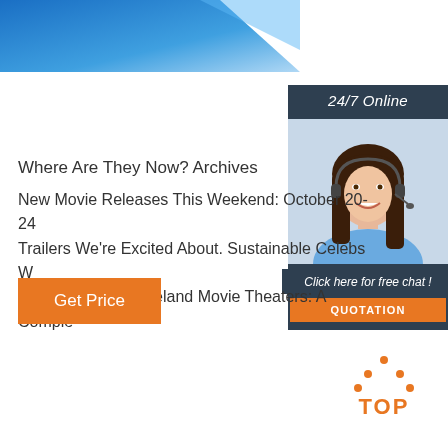[Figure (illustration): Blue and white diagonal banner header graphic in top left]
[Figure (photo): Sidebar widget with '24/7 Online' header, photo of smiling woman with headset, 'Click here for free chat!' text, and orange QUOTATION button, on dark blue-grey background]
Where Are They Now? Archives
New Movie Releases This Weekend: October 20-24 Trailers We're Excited About. Sustainable Celebs W Bobby Brown. Cleveland Movie Theaters: A Comple
[Figure (illustration): Orange 'Get Price' button]
[Figure (logo): Orange TOP logo with dotted triangle above text]